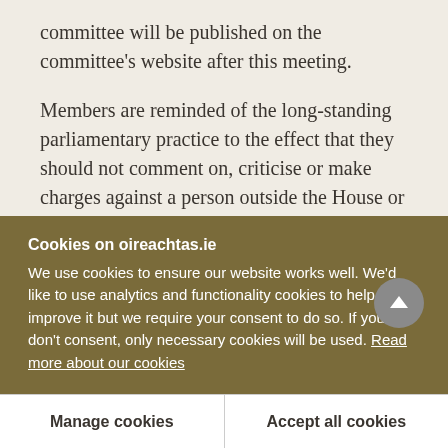committee will be published on the committee's website after this meeting.
Members are reminded of the long-standing parliamentary practice to the effect that they should not comment on, criticise or make charges against a person outside the House or an official either by name or in such a way as to make him or her identifiable.
I remind members and witnesses to turn off their
Cookies on oireachtas.ie
We use cookies to ensure our website works well. We'd like to use analytics and functionality cookies to help us improve it but we require your consent to do so. If you don't consent, only necessary cookies will be used. Read more about our cookies
Manage cookies
Accept all cookies